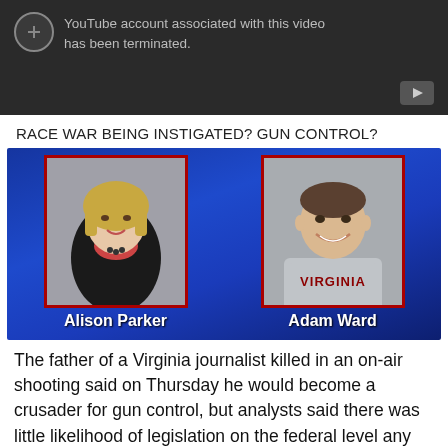[Figure (screenshot): YouTube video placeholder showing 'YouTube account associated with this video has been terminated.' message with dark background and play button icon]
RACE WAR BEING INSTIGATED? GUN CONTROL?
[Figure (photo): News broadcast screenshot showing headshots of Alison Parker and Adam Ward on a blue background with red-bordered frames and white bold name labels]
The father of a Virginia journalist killed in an on-air shooting said on Thursday he would become a crusader for gun control, but analysts said there was little likelihood of legislation on the federal level any time soon, despite changes in some states.